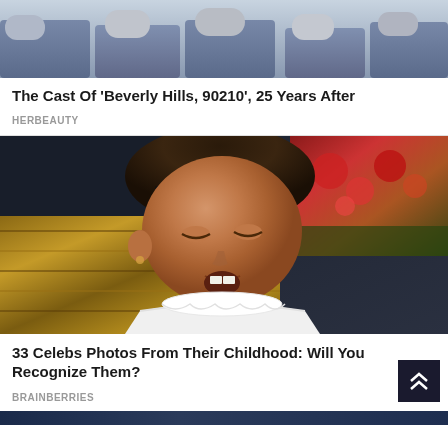[Figure (photo): Cropped photo showing people in jeans sitting, upper portion of a content card about Beverly Hills 90210 cast]
The Cast Of 'Beverly Hills, 90210', 25 Years After
HERBEAUTY
[Figure (photo): Childhood photo of a young girl with dark hair, wearing a white lace dress, mouth open, looking downward]
33 Celebs Photos From Their Childhood: Will You Recognize Them?
BRAINBERRIES